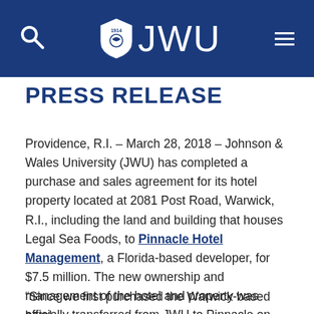JWU
PRESS RELEASE
Providence, R.I. – March 28, 2018 – Johnson & Wales University (JWU) has completed a purchase and sales agreement for its hotel property located at 2081 Post Road, Warwick, R.I., including the land and building that houses Legal Sea Foods, to Pinnacle Hotel Management, a Florida-based developer, for $7.5 million. The new ownership and management of the hotel and property was officially transferred from JWU to Pinnacle on March 1, 2018.
“Since we first purchased the Warwick-based hotel